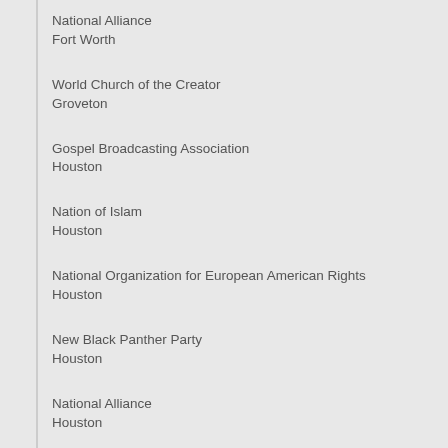National Alliance
Fort Worth
World Church of the Creator
Groveton
Gospel Broadcasting Association
Houston
Nation of Islam
Houston
National Organization for European American Rights
Houston
New Black Panther Party
Houston
National Alliance
Houston